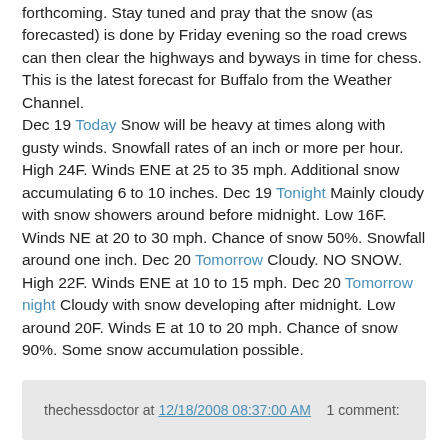forthcoming. Stay tuned and pray that the snow (as forecasted) is done by Friday evening so the road crews can then clear the highways and byways in time for chess. This is the latest forecast for Buffalo from the Weather Channel. Dec 19 Today Snow will be heavy at times along with gusty winds. Snowfall rates of an inch or more per hour. High 24F. Winds ENE at 25 to 35 mph. Additional snow accumulating 6 to 10 inches. Dec 19 Tonight Mainly cloudy with snow showers around before midnight. Low 16F. Winds NE at 20 to 30 mph. Chance of snow 50%. Snowfall around one inch. Dec 20 Tomorrow Cloudy. NO SNOW. High 22F. Winds ENE at 10 to 15 mph. Dec 20 Tomorrow night Cloudy with snow developing after midnight. Low around 20F. Winds E at 10 to 20 mph. Chance of snow 90%. Some snow accumulation possible.
thechessdoctor at 12/18/2008 08:37:00 AM    1 comment:
FOOD BANK OF WNY CHESS TOURNAMENT SERIES FINAL